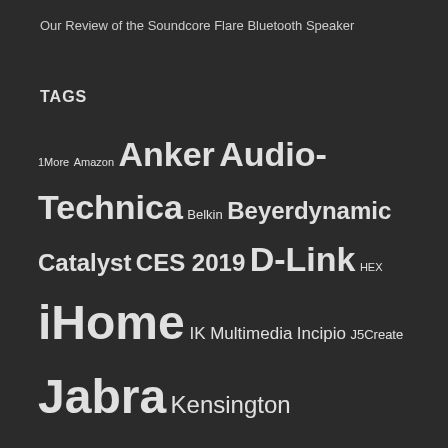Our Review of the Soundcore Flare Bluetooth Speaker
TAGS
1More Amazon Anker Audio-Technica Belkin Beyerdynamic Catalyst CES 2019 D-Link HEX iHome IK Multimedia Incipio J5Create Jabra Kensington Kickstarter Lenovo LG Lifeproof Limitless Innovations Logitech Microsoft myCharge Nokia Nomad Oculus rift Olloclip Otterbox Pelican phone cases ROCCAT Samsung smartwatch Speculative Fiction Speculative Fiction Friday Speculative Fiction Saturday SteelSeries Turtle Beach TYLT UAG UAG Monarch Urban Armor Gear wireless